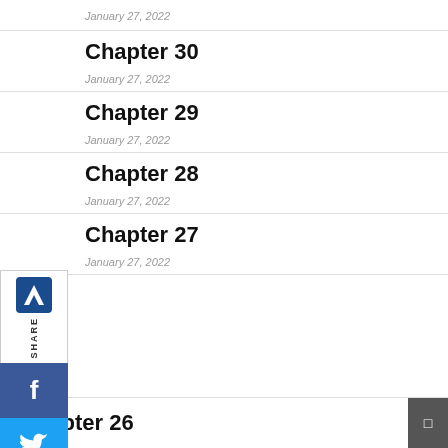January 27, 2022
Chapter 30
January 27, 2022
Chapter 29
January 27, 2022
Chapter 28
January 27, 2022
Chapter 27
January 27, 2022
[Figure (infographic): Social share sidebar with Lambda logo, SHARE label, and social media buttons: Facebook, Twitter, LinkedIn, Pinterest, Reddit]
Chapter 26